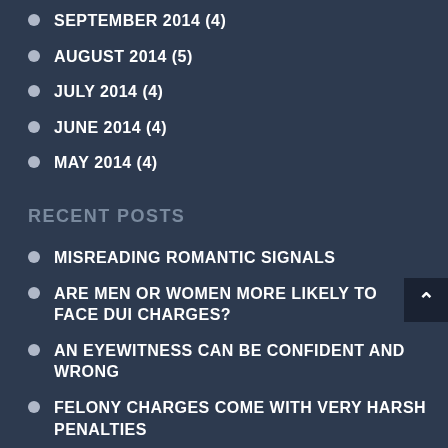SEPTEMBER 2014 (4)
AUGUST 2014 (5)
JULY 2014 (4)
JUNE 2014 (4)
MAY 2014 (4)
RECENT POSTS
MISREADING ROMANTIC SIGNALS
ARE MEN OR WOMEN MORE LIKELY TO FACE DUI CHARGES?
AN EYEWITNESS CAN BE CONFIDENT AND WRONG
FELONY CHARGES COME WITH VERY HARSH PENALTIES
KNOW HOW A PLEA DEAL MAY RESOLVE YOUR